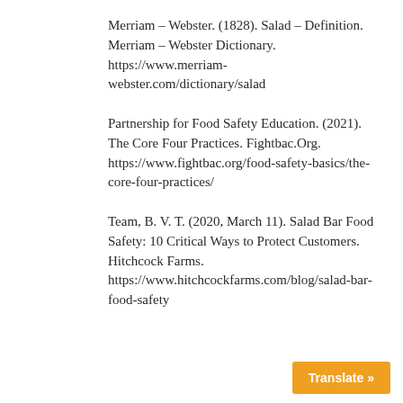Merriam – Webster. (1828). Salad – Definition. Merriam – Webster Dictionary. https://www.merriam-webster.com/dictionary/salad
Partnership for Food Safety Education. (2021). The Core Four Practices. Fightbac.Org. https://www.fightbac.org/food-safety-basics/the-core-four-practices/
Team, B. V. T. (2020, March 11). Salad Bar Food Safety: 10 Critical Ways to Protect Customers. Hitchcock Farms. https://www.hitchcockfarms.com/blog/salad-bar-food-safety
Translate »